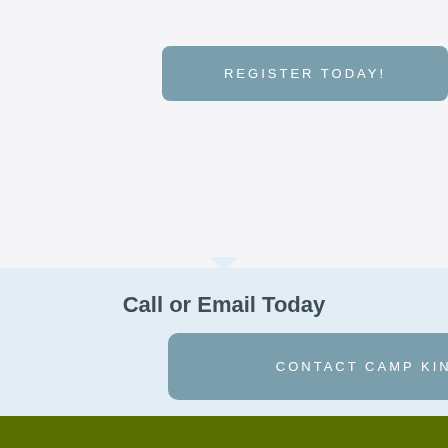REGISTER TODAY!
Call or Email Today
CONTACT CAMP KINTAIL